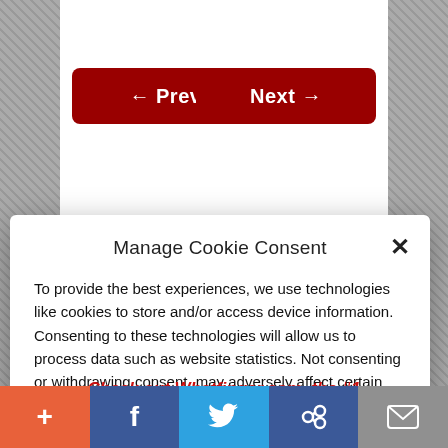[Figure (screenshot): Navigation buttons: ← Previous (dark red, left) and Next → (dark red, right)]
Manage Cookie Consent
To provide the best experiences, we use technologies like cookies to store and/or access device information. Consenting to these technologies will allow us to process data such as website statistics. Not consenting or withdrawing consent, may adversely affect certain features and functions.
Accept
Cookie Policy   Privacy Policy
Check out Whatfinger.com, the #1 Alternative to the Drudge
[Figure (screenshot): Bottom social sharing bar with +, Facebook, Twitter, link, and email buttons]